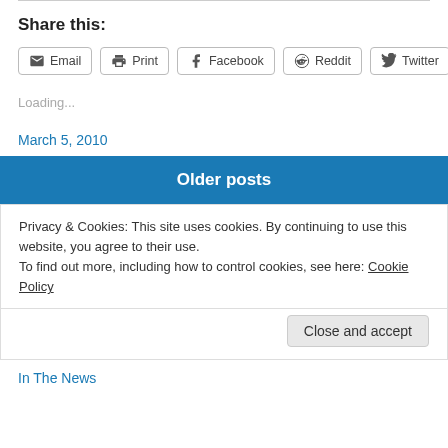Share this:
Email  Print  Facebook  Reddit  Twitter
Loading...
March 5, 2010
Older posts
Privacy & Cookies: This site uses cookies. By continuing to use this website, you agree to their use.
To find out more, including how to control cookies, see here: Cookie Policy
Close and accept
In The News